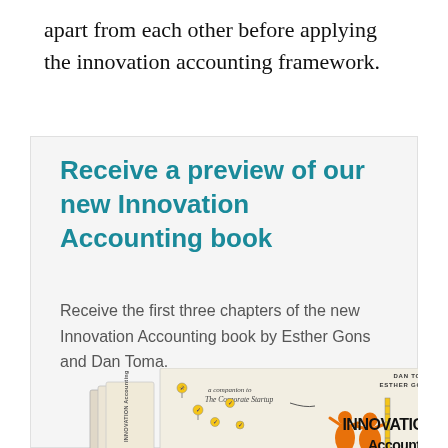apart from each other before applying the innovation accounting framework.
Receive a preview of our new Innovation Accounting book
Receive the first three chapters of the new Innovation Accounting book by Esther Gons and Dan Toma.
[Figure (photo): Book cover and spine of 'Innovation Accounting' by Dan Toma and Esther Gons, a companion to The Corporate Startup. Cover shows illustrated orange figures and light bulb icons.]